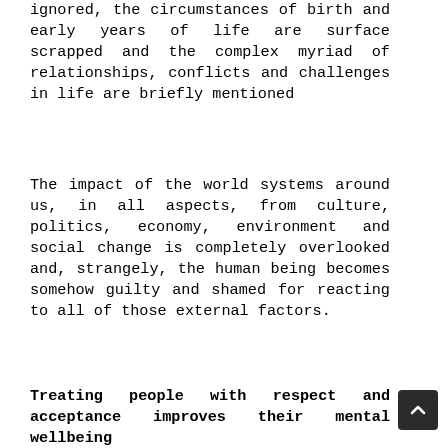ignored, the circumstances of birth and early years of life are surface scrapped and the complex myriad of relationships, conflicts and challenges in life are briefly mentioned
The impact of the world systems around us, in all aspects, from culture, politics, economy, environment and social change is completely overlooked and, strangely, the human being becomes somehow guilty and shamed for reacting to all of those external factors.
Treating people with respect and acceptance improves their mental wellbeing